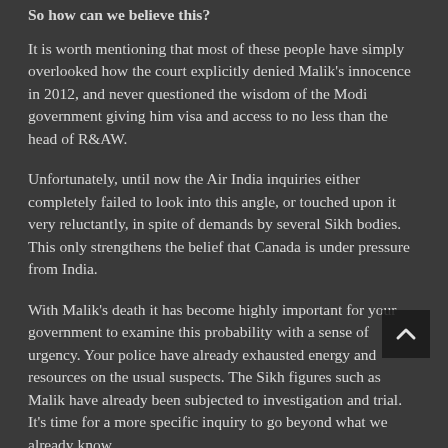So how can we believe this?
It is worth mentioning that most of these people have simply overlooked how the court explicitly denied Malik's innocence in 2012, and never questioned the wisdom of the Modi government giving him visa and access to no less than the head of R&AW.
Unfortunately, until now the Air India inquiries either completely failed to look into this angle, or touched upon it very reluctantly, in spite of demands by several Sikh bodies. This only strengthens the belief that Canada is under pressure from India.
With Malik's death it has become highly important for your government to examine this probability with a sense of urgency. Your police have already exhausted energy and resources on the usual suspects. The Sikh figures such as Malik have already been subjected to investigation and trial. It's time for a more specific inquiry to go beyond what we already know.
A heartless government of India, that was capable of killing its own people in 1984, won't think twice to engage elements, wh…